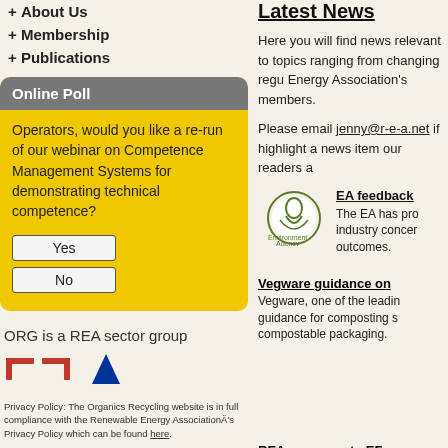+ About Us
+ Membership
+ Publications
Online Poll
Operators, would you like a re-run of our webinar on Competence Management Systems for demonstrating technical competence?
Yes
No
ORG is a REA sector group
[Figure (logo): REA and ORG logos with triangle shape]
Privacy Policy: The Organics Recycling website is in full compliance with the Renewable Energy AssociationÃ¢â¬â¢s Privacy Policy which can be found here.
Latest News
Here you will find news relevant to topics ranging from changing regu Energy Association's members.
Please email jenny@r-e-a.net if highlight a news item our readers a
EA feedback
[Figure (logo): Environment Agency logo]
The EA has pro industry concer outcomes.
Vegware guidance on
Vegware, one of the leadin guidance for composting s compostable packaging.
REA response to EF England.
EFRA seeks views from